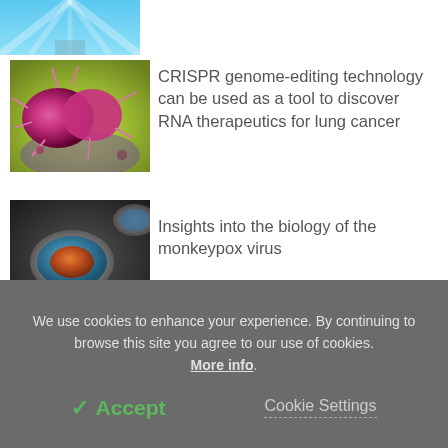[Figure (photo): Partial top image - blue abstract/technology image, cropped at top]
[Figure (photo): Microscopic image of a cancer cell, pink/magenta colored with spiky protrusions on a blurred green/yellow background]
CRISPR genome-editing technology can be used as a tool to discover RNA therapeutics for lung cancer
[Figure (photo): Microscopic image of monkeypox virus particles, oval shaped with internal structure, on dark background]
Insights into the biology of the monkeypox virus
We use cookies to enhance your experience. By continuing to browse this site you agree to our use of cookies. More info.
✓ Accept
Cookie Settings